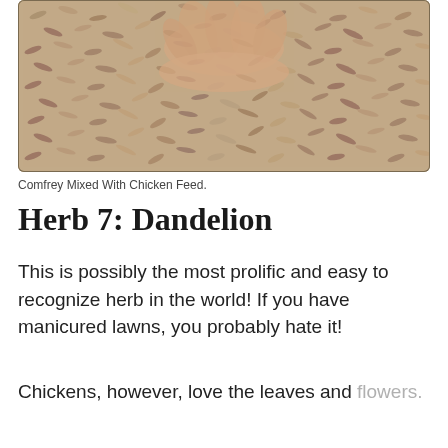[Figure (photo): A close-up photo of a person's hands holding small pellets of comfrey mixed with chicken feed in a bowl or container]
Comfrey Mixed With Chicken Feed.
Herb 7: Dandelion
This is possibly the most prolific and easy to recognize herb in the world! If you have manicured lawns, you probably hate it!
Chickens, however, love the leaves and flowers.